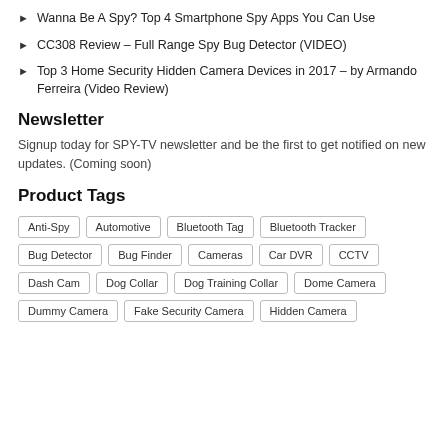Wanna Be A Spy? Top 4 Smartphone Spy Apps You Can Use
CC308 Review – Full Range Spy Bug Detector (VIDEO)
Top 3 Home Security Hidden Camera Devices in 2017 – by Armando Ferreira (Video Review)
Newsletter
Signup today for SPY-TV newsletter and be the first to get notified on new updates. (Coming soon)
Product Tags
Anti-Spy | Automotive | Bluetooth Tag | Bluetooth Tracker | Bug Detector | Bug Finder | Cameras | Car DVR | CCTV | Dash Cam | Dog Collar | Dog Training Collar | Dome Camera | Dummy Camera | Fake Security Camera | Hidden Camera